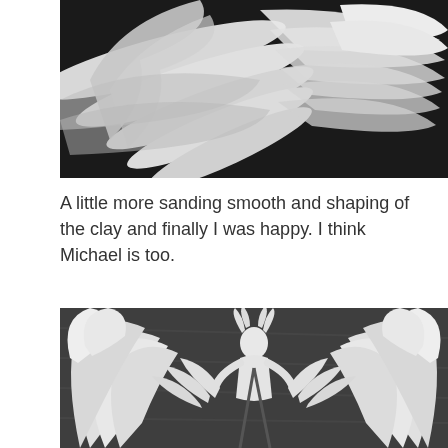[Figure (photo): Close-up photo of white clay feathers/wings being sculpted, against a black background. The clay forms layered, wing-like shapes.]
A little more sanding smooth and shaping of the clay and finally I was happy. I think Michael is too.
[Figure (photo): White clay sculpture of a winged figure (angel or demon) with large spread wings, horns, and holding a staff/rod, photographed against a dark grey crinkled backdrop.]